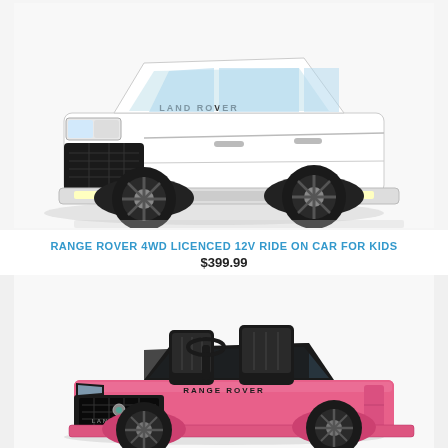[Figure (photo): White Land Rover Range Rover kids ride-on car viewed from front-left angle, showing grille, headlights, and wheels on white background]
RANGE ROVER 4WD LICENCED 12V RIDE ON CAR FOR KIDS
$399.99
[Figure (photo): Pink Range Rover kids ride-on car viewed from front-left angle, showing open top with black seats, steering wheel, grille and headlights, with Land Rover badge visible]